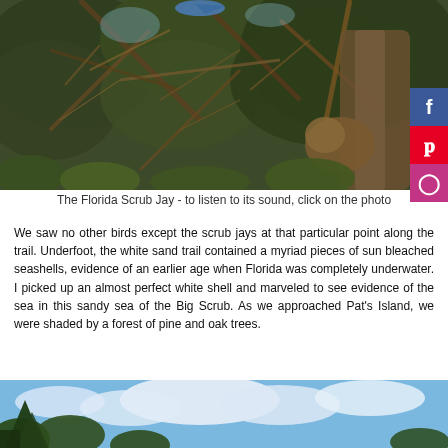[Figure (photo): Florida Scrub Jay perched in dense scrub trees with branches and foliage, bird partially visible at top]
The Florida Scrub Jay - to listen to its sound, click on the photo
We saw no other birds except the scrub jays at that particular point along the trail. Underfoot, the white sand trail contained a myriad pieces of sun bleached seashells, evidence of an earlier age when Florida was completely underwater. I picked up an almost perfect white shell and marveled to see evidence of the sea in this sandy sea of the Big Scrub. As we approached Pat's Island, we were shaded by a forest of pine and oak trees.
[Figure (photo): Bottom of another photo showing pine/oak trees against blue sky with clouds]